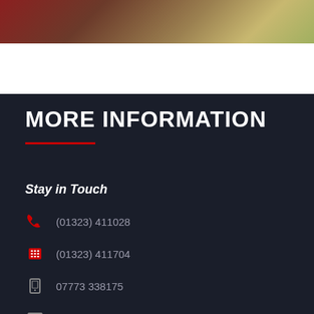[Figure (photo): Partial image at top of page showing people, partially cropped]
MORE INFORMATION
Stay in Touch
(01323) 411028
(01323) 411704
07773 338175
michael@kbglass.co.uk